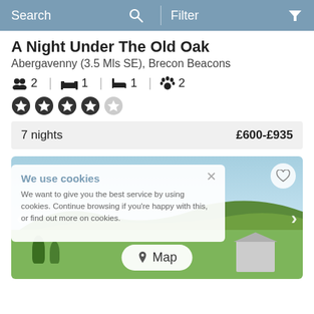Search  Filter
A Night Under The Old Oak
Abergavenny (3.5 Mls SE), Brecon Beacons
2 guests | 1 bedroom | 1 bathroom | 2 pets
4 out of 5 stars rating
7 nights   £600-£935
[Figure (photo): Outdoor rural landscape photo showing green hills, blue sky, and a barn/shed building. Overlaid with a cookie consent popup and a Map button. Heart/favourite icon top right, left/right navigation arrows.]
We use cookies
We want to give you the best service by using cookies. Continue browsing if you're happy with this, or find out more on cookies.
Map